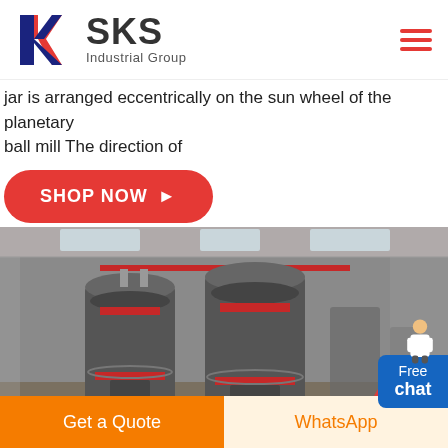[Figure (logo): SKS Industrial Group logo with red and blue K letter mark and bold SKS text]
jar is arranged eccentrically on the sun wheel of the planetary ball mill The direction of
[Figure (other): Free chat button with person illustration]
[Figure (other): SHOP NOW button in red rounded rectangle]
[Figure (photo): Industrial factory interior with large grey cylindrical grinding mill machines]
[Figure (other): Red circle partial at bottom right of main image]
Get a Quote
WhatsApp